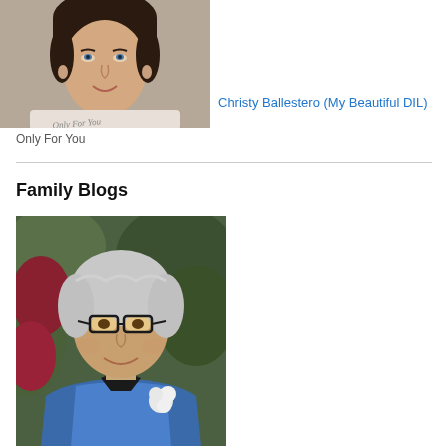[Figure (photo): Portrait photo of a young woman with short dark hair, wearing a light sweater with cursive text 'Only For You', smiling at the camera]
Christy Ballestero (My Beautiful DIL)
Only For You
Family Blogs
[Figure (photo): Portrait photo of an older woman with silver hair and glasses, wearing a blue satin jacket with a white corsage, standing in front of green foliage]